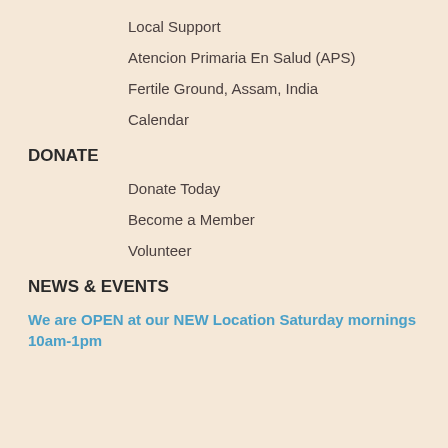Local Support
Atencion Primaria En Salud (APS)
Fertile Ground, Assam, India
Calendar
DONATE
Donate Today
Become a Member
Volunteer
NEWS & EVENTS
We are OPEN at our NEW Location Saturday mornings 10am-1pm